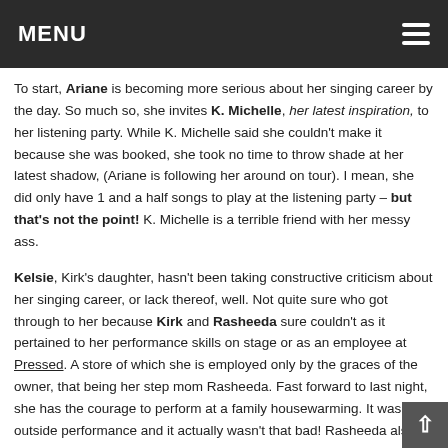MENU
To start, Ariane is becoming more serious about her singing career by the day. So much so, she invites K. Michelle, her latest inspiration, to her listening party. While K. Michelle said she couldn't make it because she was booked, she took no time to throw shade at her latest shadow, (Ariane is following her around on tour). I mean, she did only have 1 and a half songs to play at the listening party – but that's not the point! K. Michelle is a terrible friend with her messy ass.
Kelsie, Kirk's daughter, hasn't been taking constructive criticism about her singing career, or lack thereof, well. Not quite sure who got through to her because Kirk and Rasheeda sure couldn't as it pertained to her performance skills on stage or as an employee at Pressed. A store of which she is employed only by the graces of the owner, that being her step mom Rasheeda. Fast forward to last night, she has the courage to perform at a family housewarming. It was an outside performance and it actually wasn't that bad! Rasheeda also mentions Kelsie's performance at work has improved. Anything to get